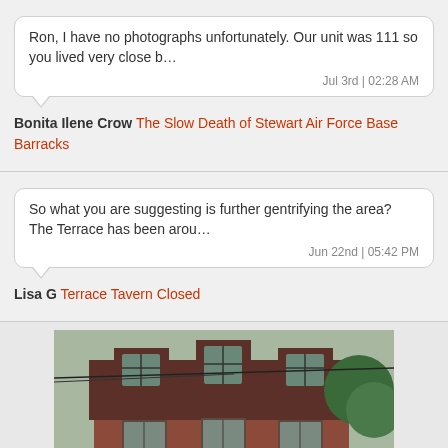Ron, I have no photographs unfortunately. Our unit was 111 so you lived very close b…
Jul 3rd | 02:28 AM
Bonita Ilene Crow The Slow Death of Stewart Air Force Base Barracks
So what you are suggesting is further gentrifying the area? The Terrace has been arou…
Jun 22nd | 05:42 PM
Lisa G Terrace Tavern Closed
[Figure (photo): Photograph of a red brick building with boarded-up windows and text 'RESCUE ME' at the bottom]